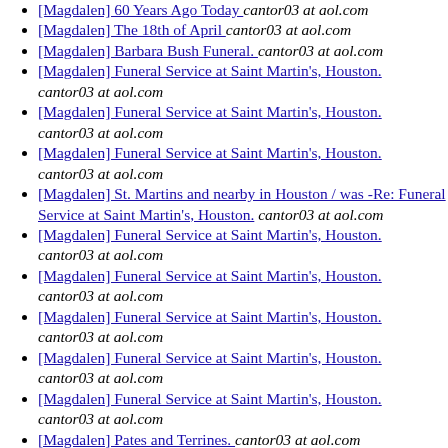[Magdalen] 60 Years Ago Today  cantor03 at aol.com
[Magdalen] The 18th of April   cantor03 at aol.com
[Magdalen] Barbara Bush Funeral.   cantor03 at aol.com
[Magdalen] Funeral Service at Saint Martin's, Houston.  cantor03 at aol.com
[Magdalen] Funeral Service at Saint Martin's, Houston.  cantor03 at aol.com
[Magdalen] Funeral Service at Saint Martin's, Houston.  cantor03 at aol.com
[Magdalen] St. Martins and nearby in Houston / was -Re: Funeral Service at Saint Martin's, Houston.  cantor03 at aol.com
[Magdalen] Funeral Service at Saint Martin's, Houston.  cantor03 at aol.com
[Magdalen] Funeral Service at Saint Martin's, Houston.  cantor03 at aol.com
[Magdalen] Funeral Service at Saint Martin's, Houston.  cantor03 at aol.com
[Magdalen] Funeral Service at Saint Martin's, Houston.  cantor03 at aol.com
[Magdalen] Funeral Service at Saint Martin's, Houston.  cantor03 at aol.com
[Magdalen] Pates and Terrines.   cantor03 at aol.com
[Magdalen] Pates and Terrines.   cantor03 at aol.com
[Magdalen] Pates and Terrines.   cantor03 at aol.com
[Magdalen] Pates and Terrines.  cantor03 at aol.com